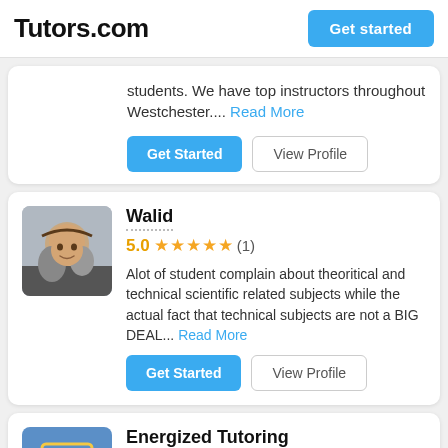Tutors.com
students. We have top instructors throughout Westchester.... Read More
Get Started | View Profile
Walid
5.0 ★★★★★ (1)
Alot of student complain about theoritical and technical scientific related subjects while the actual fact that technical subjects are not a BIG DEAL... Read More
Get Started | View Profile
Energized Tutoring